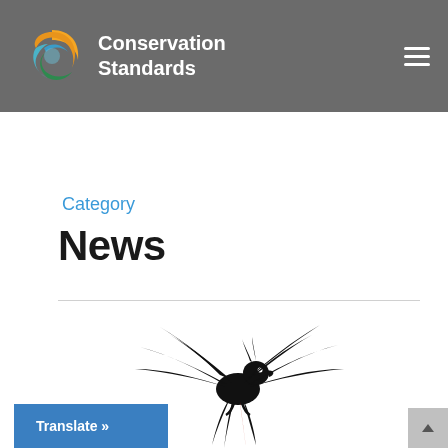Conservation Standards
Category
News
[Figure (illustration): Black silhouette of a parrot/cockatoo with wings spread wide, with red/orange tail feathers, depicted in flight against a white background.]
Translate »